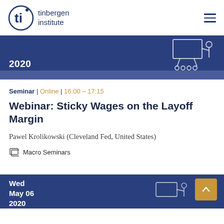tinbergen institute
[Figure (other): Blue banner with year '2020' and an illustrated icon of a lecturer/presenter on the right side]
Seminar | Online | 16:00 - 17:15
Webinar: Sticky Wages on the Layoff Margin
Pawel Krolikowski (Cleveland Fed, United States)
Macro Seminars
[Figure (other): Blue banner with 'Wed May 06 2020' text and a scroll-to-top button in gold/amber color]